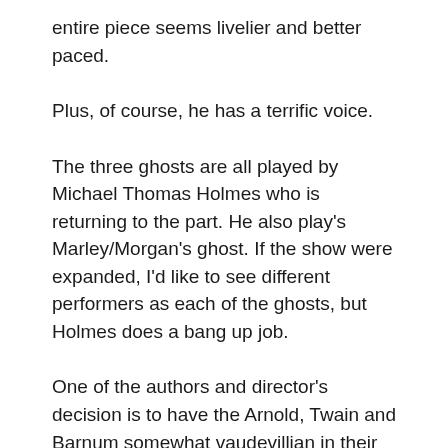entire piece seems livelier and better paced.
Plus, of course, he has a terrific voice.
The three ghosts are all played by Michael Thomas Holmes who is returning to the part. He also play's Marley/Morgan's ghost. If the show were expanded, I'd like to see different performers as each of the ghosts, but Holmes does a bang up job.
One of the authors and director's decision is to have the Arnold, Twain and Barnum somewhat vaudevillian in their roles. This detracts from the scariness of them. It does give Barnum and the show, a chance for a circus like number.